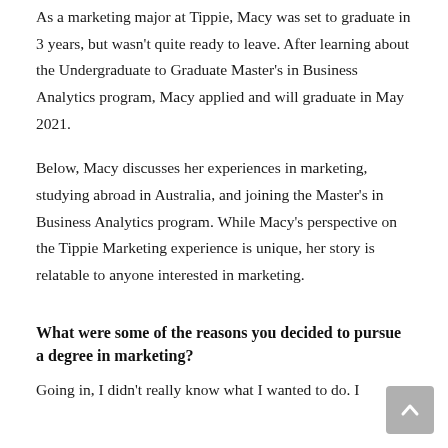As a marketing major at Tippie, Macy was set to graduate in 3 years, but wasn't quite ready to leave. After learning about the Undergraduate to Graduate Master's in Business Analytics program, Macy applied and will graduate in May 2021.
Below, Macy discusses her experiences in marketing, studying abroad in Australia, and joining the Master's in Business Analytics program. While Macy's perspective on the Tippie Marketing experience is unique, her story is relatable to anyone interested in marketing.
What were some of the reasons you decided to pursue a degree in marketing?
Going in, I didn't really know what I wanted to do. I